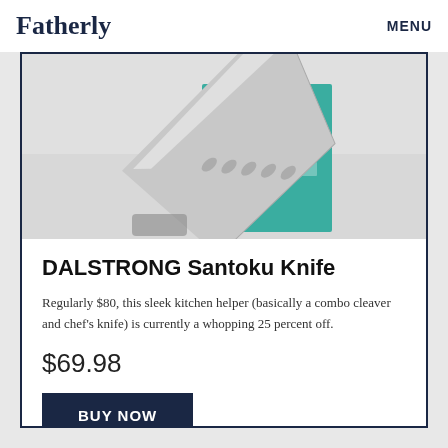Fatherly   MENU
[Figure (photo): DALSTRONG Santoku Knife shown leaning against a teal-green product box labeled 'OR SERIES', with a metallic silver blade featuring oval cutouts]
DALSTRONG Santoku Knife
Regularly $80, this sleek kitchen helper (basically a combo cleaver and chef's knife) is currently a whopping 25 percent off.
$69.98
BUY NOW